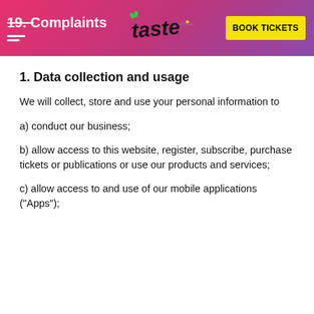19. Complaints
1. Data collection and usage
We will collect, store and use your personal information to
a) conduct our business;
b) allow access to this website, register, subscribe, purchase tickets or publications or use our products and services;
c) allow access to and use of our mobile applications ("Apps");